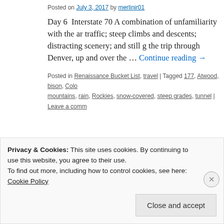Posted on July 3, 2017 by merlinjr01
Day 6  Interstate 70 A combination of unfamiliarity with the ar traffic; steep climbs and descents; distracting scenery; and still g the trip through Denver, up and over the … Continue reading →
Posted in Renaissance Bucket List, travel | Tagged 177, Atwood, bison, Colo mountains, rain, Rockies, snow-covered, steep grades, tunnel | Leave a comm
Privacy & Cookies: This site uses cookies. By continuing to use this website, you agree to their use.
To find out more, including how to control cookies, see here: Cookie Policy
Close and accept